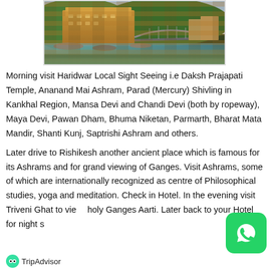[Figure (photo): Aerial view of a temple complex and bridge near Haridwar/Rishikesh with river and buildings visible]
Morning visit Haridwar Local Sight Seeing i.e Daksh Prajapati Temple, Ananand Mai Ashram, Parad (Mercury) Shivling in Kankhal Region, Mansa Devi and Chandi Devi (both by ropeway), Maya Devi, Pawan Dham, Bhuma Niketan, Parmarth, Bharat Mata Mandir, Shanti Kunj, Saptrishi Ashram and others.
Later drive to Rishikesh another ancient place which is famous for its Ashrams and for grand viewing of Ganges. Visit Ashrams, some of which are internationally recognized as centre of Philosophical studies, yoga and meditation. Check in Hotel. In the evening visit Triveni Ghat to view holy Ganges Aarti. Later back to your Hotel for night stay.
[Figure (logo): TripAdvisor logo]